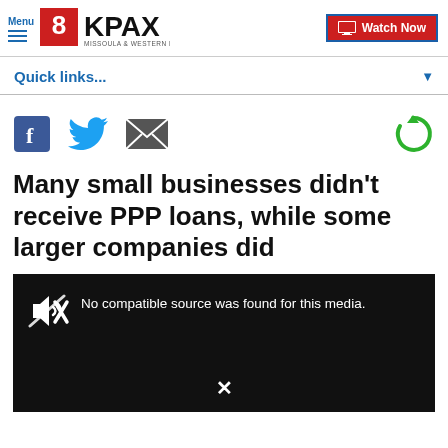Menu | 8KPAX Missoula & Western Montana | Watch Now
Quick links...
[Figure (other): Social sharing icons: Facebook, Twitter, Email, and a refresh/share icon]
Many small businesses didn't receive PPP loans, while some larger companies did
[Figure (screenshot): Video player showing 'No compatible source was found for this media.' with a mute icon and an X close button on a black background]